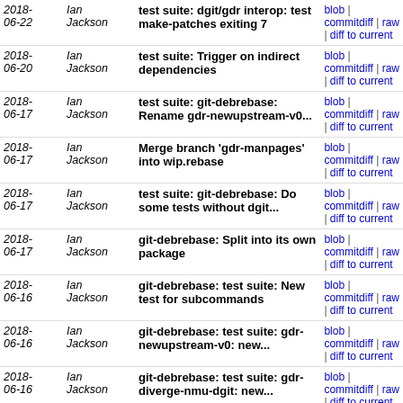| Date | Author | Message | Links |
| --- | --- | --- | --- |
| 2018-06-22 | Ian Jackson | test suite: dgit/gdr interop: test make-patches exiting 7 | blob | commitdiff | raw | diff to current |
| 2018-06-20 | Ian Jackson | test suite: Trigger on indirect dependencies | blob | commitdiff | raw | diff to current |
| 2018-06-17 | Ian Jackson | test suite: git-debrebase: Rename gdr-newupstream-v0... | blob | commitdiff | raw | diff to current |
| 2018-06-17 | Ian Jackson | Merge branch 'gdr-manpages' into wip.rebase | blob | commitdiff | raw | diff to current |
| 2018-06-17 | Ian Jackson | test suite: git-debrebase: Do some tests without dgit... | blob | commitdiff | raw | diff to current |
| 2018-06-17 | Ian Jackson | git-debrebase: Split into its own package | blob | commitdiff | raw | diff to current |
| 2018-06-16 | Ian Jackson | git-debrebase: test suite: New test for subcommands | blob | commitdiff | raw | diff to current |
| 2018-06-16 | Ian Jackson | git-debrebase: test suite: gdr-newupstream-v0: new... | blob | commitdiff | raw | diff to current |
| 2018-06-16 | Ian Jackson | git-debrebase: test suite: gdr-diverge-nmu-dgit: new... | blob | commitdiff | raw | diff to current |
| 2018-06-16 | Ian Jackson | git-debrebase: test suite: gdr-diverge-nmu: new test... | blob | commitdiff | raw | diff to current |
| 2018-06-16 | Ian Jackson | git-debrebase: test suite: gdr-viagit: new test | blob | commitdiff | raw | diff to current |
| 2018-06-16 | Ian Jackson | git-debrebase: test suite: gdr-*: use faketime to contr... | blob | commitdiff | raw | diff to current |
| 2018-06-16 | Ian Jackson | git-debrebase: test suite: gdr-import-dgit: wip | blob | commitdiff | raw | diff to current |